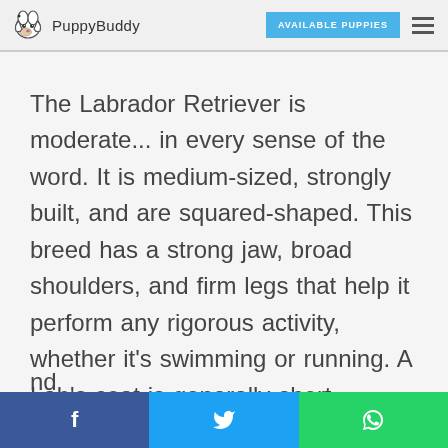PuppyBuddy | AVAILABLE PUPPIES
The Labrador Retriever is moderate... in every sense of the word. It is medium-sized, strongly built, and are squared-shaped. This breed has a strong jaw, broad shoulders, and firm legs that help it perform any rigorous activity, whether it’s swimming or running. A Lab’s coat is generally short, dense, and weather-resistant, which protects it from severe weather conditions. The Labrador Retriever is a powerful, hard-working nd